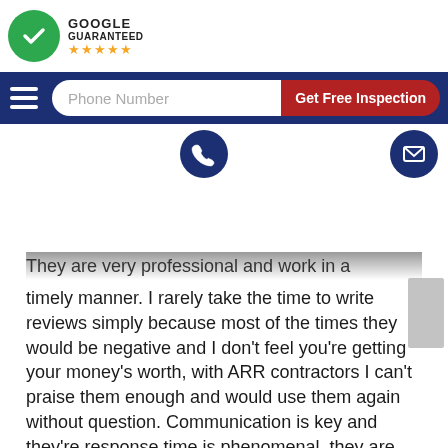[Figure (logo): Google Guaranteed badge with green circle checkmark, 'GOOGLE GUARANTEED' text, and five gold stars]
Phone Number | Get Free Inspection
[Figure (infographic): Phone icon (blue circle) and mail icon (blue circle) on navigation row]
They are very professional and work in a timely manner. I rarely take the time to write reviews simply because most of the times they would be negative and I don't feel you're getting your money's worth, with ARR contractors I can't praise them enough and would use them again without question. Communication is key and they're response time is phenomenal .they are thorough and will take the time to explain things to you if you don't understand. Sincere thanks, Jon mazziotta, Dallas Tx.